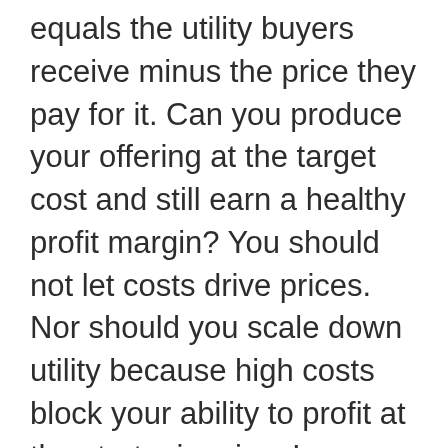equals the utility buyers receive minus the price they pay for it. Can you produce your offering at the target cost and still earn a healthy profit margin? You should not let costs drive prices. Nor should you scale down utility because high costs block your ability to profit at the strategic price. Is your offering priced to attract the mass of target buyers from the start so that they have a compelling ability to pay for it? When exceptional utility is combined with strategic pricing, imitation is discouraged. Failure to...